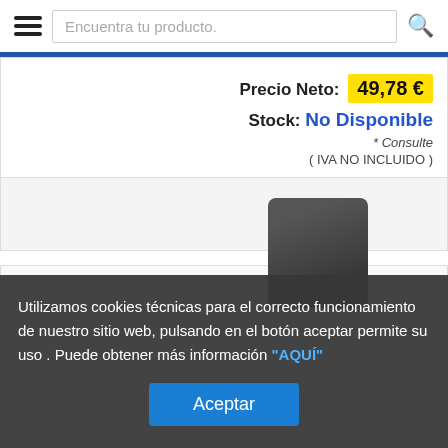Encuentra tu producto.
Precio Neto: 49,78 €
Stock: No Disponible
* Consulte
( IVA NO INCLUIDO )
Utilizamos cookies técnicas para el correcto funcionamiento de nuestro sitio web, pulsando en el botón aceptar permite su uso . Puede obtener más información "AQUÍ"
Aceptar